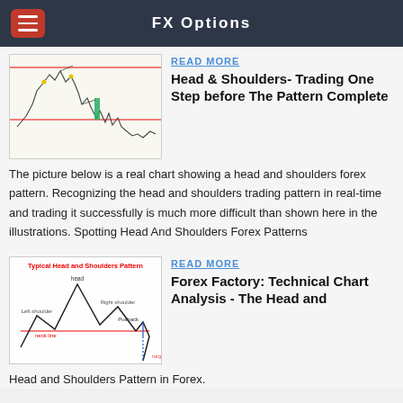FX Options
[Figure (screenshot): Real chart showing a head and shoulders forex pattern with candlesticks, red horizontal lines, and a highlighted green bar.]
READ MORE
Head & Shoulders- Trading One Step before The Pattern Complete
The picture below is a real chart showing a head and shoulders forex pattern. Recognizing the head and shoulders trading pattern in real-time and trading it successfully is much more difficult than shown here in the illustrations. Spotting Head And Shoulders Forex Patterns
[Figure (illustration): Typical Head and Shoulders Pattern diagram showing left shoulder, head, right shoulder, neckline, pullback, and target labeled.]
READ MORE
Forex Factory: Technical Chart Analysis - The Head and
Head and Shoulders Pattern in Forex.